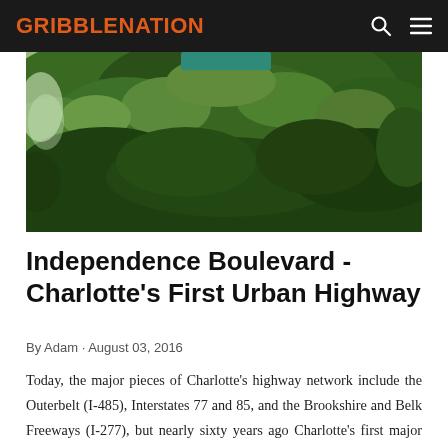GRIBBLENATION
[Figure (photo): Outdoor photograph showing dense green tree canopy from below, with a partial view of a teal/green sign at the top, taken along a road or highway corridor.]
Independence Boulevard - Charlotte's First Urban Highway
By Adam · August 03, 2016
Today, the major pieces of Charlotte's highway network include the Outerbelt (I-485), Interstates 77 and 85, and the Brookshire and Belk Freeways (I-277), but nearly sixty years ago Charlotte's first major urban highway project woul…